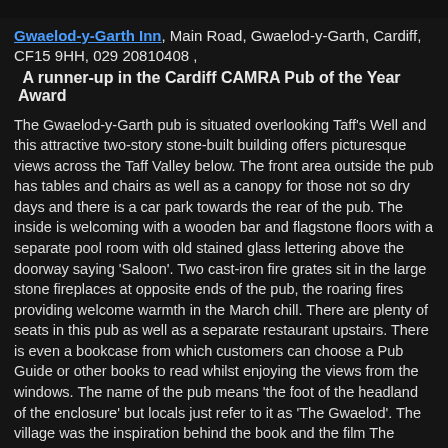Gwaelod-y-Garth Inn, Main Road, Gwaelod-y-Garth, Cardiff, CF15 9HH, 029 20810408 ,
A runner-up in the Cardiff CAMRA Pub of the Year Award
The Gwaelod-y-Garth pub is situated overlooking Taff's Well and this attractive two-story stone-built building offers picturesque views across the Taff Valley below. The front area outside the pub has tables and chairs as well as a canopy for those not so dry days and there is a car park towards the rear of the pub. The inside is welcoming with a wooden bar and flagstone floors with a separate pool room with old stained glass lettering above the doorway saying 'Saloon'. Two cast-iron fire grates sit in the large stone fireplaces at opposite ends of the pub, the roaring fires providing welcome warmth in the March chill. There are plenty of seats in this pub as well as a separate restaurant upstairs. There is even a bookcase from which customers can choose a Pub Guide or other books to read whilst enjoying the views from the windows. The name of the pub means 'the foot of the headland of the enclosure' but locals just refer to it as 'The Gwaelod'. The village was the inspiration behind the book and the film The Englishman